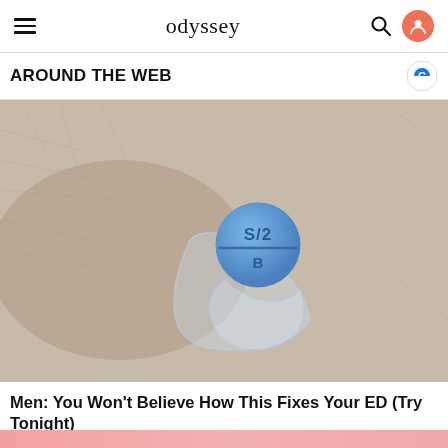odyssey
AROUND THE WEB
[Figure (photo): Close-up photo of a small blue pill with 'S/2' and 'B' markings, sitting in a clear blister pack on a fuzzy light-colored fabric surface.]
Men: You Won't Believe How This Fixes Your ED (Try Tonight)
VigorNow